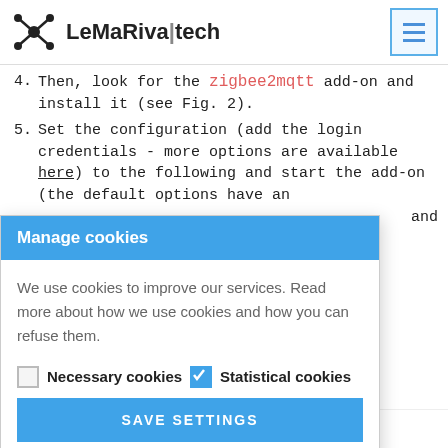LeMaRiva|tech
4. Then, look for the zigbee2mqtt add-on and install it (see Fig. 2).
5. Set the configuration (add the login credentials - more options are available here) to the following and start the add-on (the default options have an and
Manage cookies
We use cookies to improve our services. Read more about how we use cookies and how you can refuse them.
Necessary cookies  Statistical cookies
SAVE SETTINGS
permit_join : false,
"mqtt": {